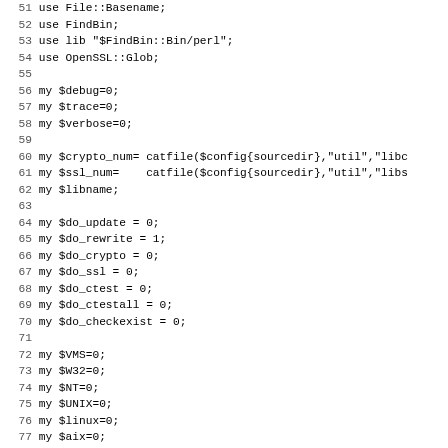Perl source code lines 52-83 showing use statements, variable declarations for debug/trace/verbose, crypto/ssl paths, do_update/rewrite/crypto/ssl/ctest/ctestall/checkexist flags, VMS/W32/NT/UNIX/linux/aix platform flags, safe_stack_def, and known_platforms array.